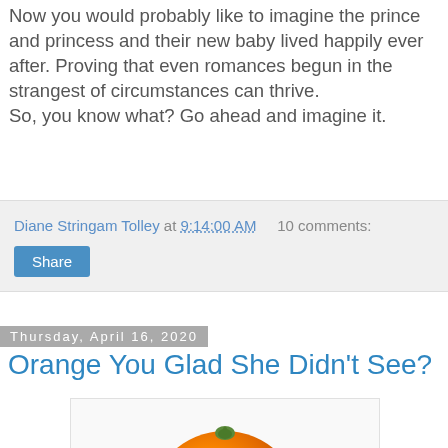Now you would probably like to imagine the prince and princess and their new baby lived happily ever after. Proving that even romances begun in the strangest of circumstances can thrive.
So, you know what? Go ahead and imagine it.
Diane Stringam Tolley at 9:14:00 AM   10 comments:
Share
Thursday, April 16, 2020
Orange You Glad She Didn't See?
[Figure (photo): A single orange (citrus fruit) photographed against a white background, showing textured orange skin and a small green stem at the top.]